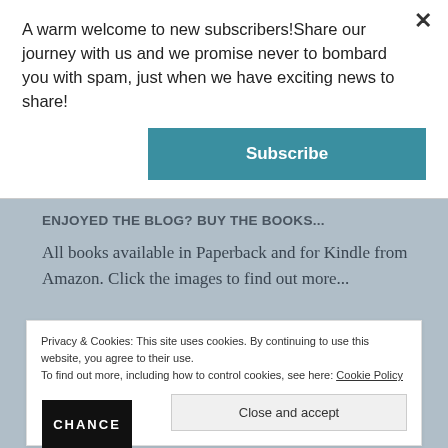A warm welcome to new subscribers!Share our journey with us and we promise never to bombard you with spam, just when we have exciting news to share!
×
Subscribe
ENJOYED THE BLOG? BUY THE BOOKS...
All books available in Paperback and for Kindle from Amazon. Click the images to find out more...
Privacy & Cookies: This site uses cookies. By continuing to use this website, you agree to their use.
To find out more, including how to control cookies, see here: Cookie Policy
Close and accept
[Figure (photo): Partial view of a book cover showing text 'CHANCE' in white letters on a dark/black background]